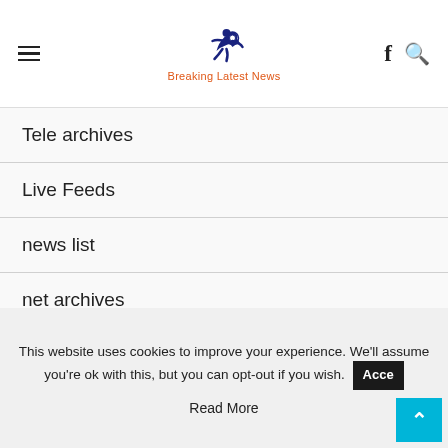Breaking Latest News
Tele archives
Live Feeds
news list
net archives
uk news archyves
News today
This website uses cookies to improve your experience. We'll assume you're ok with this, but you can opt-out if you wish. Accept Read More